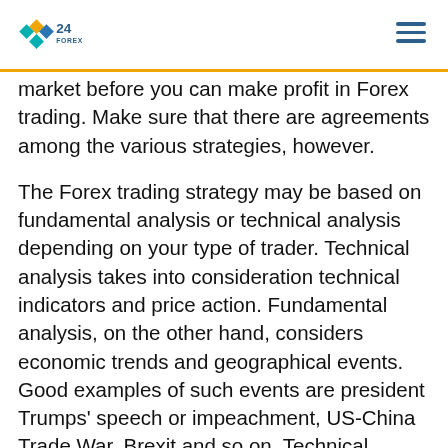24 FOREX
market before you can make profit in Forex trading. Make sure that there are agreements among the various strategies, however.
The Forex trading strategy may be based on fundamental analysis or technical analysis depending on your type of trader. Technical analysis takes into consideration technical indicators and price action. Fundamental analysis, on the other hand, considers economic trends and geographical events. Good examples of such events are president Trumps’ speech or impeachment, US-China Trade War, Brexit and so on. Technical analysis is unlimited while the reverse is the case with fundamental analysis.
When developing a Forex trading strategy, you